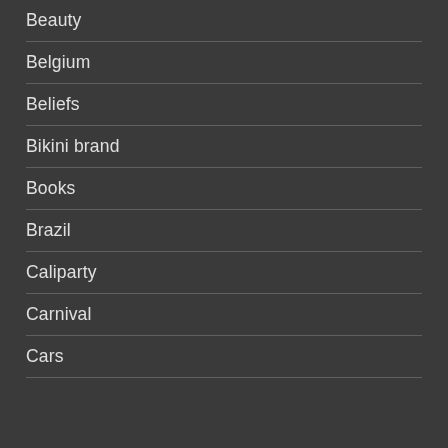Beauty
Belgium
Beliefs
Bikini brand
Books
Brazil
Caliparty
Carnival
Cars